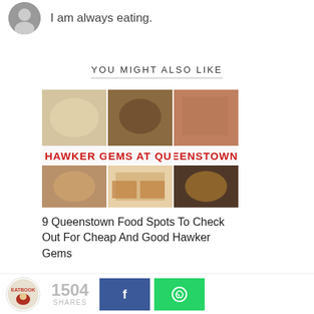I am always eating.
YOU MIGHT ALSO LIKE
[Figure (photo): Grid of 6 food photos with text overlay reading 'HAWKER GEMS AT QUEENSTOWN']
9 Queenstown Food Spots To Check Out For Cheap And Good Hawker Gems
1504 SHARES